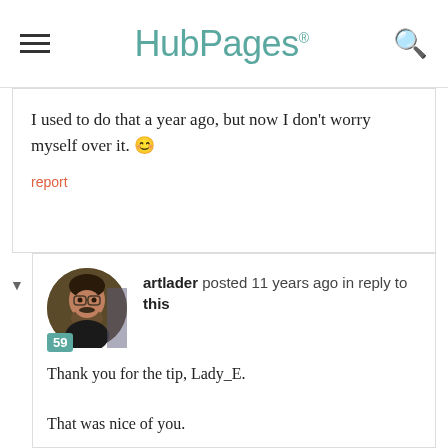HubPages
I used to do that a year ago, but now I don't worry myself over it. 🙂
report
artlader posted 11 years ago in reply to this
Thank you for the tip, Lady_E.

That was nice of you.

Regards,
Art